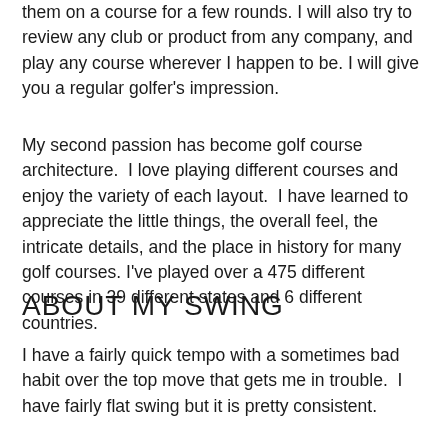them on a course for a few rounds. I will also try to review any club or product from any company, and play any course wherever I happen to be. I will give you a regular golfer's impression.
My second passion has become golf course architecture.  I love playing different courses and enjoy the variety of each layout.  I have learned to appreciate the little things, the overall feel, the intricate details, and the place in history for many golf courses. I've played over a 475 different courses in 39 different states and 6 different countries.
ABOUT MY SWING
I have a fairly quick tempo with a sometimes bad habit over the top move that gets me in trouble.  I have fairly flat swing but it is pretty consistent.